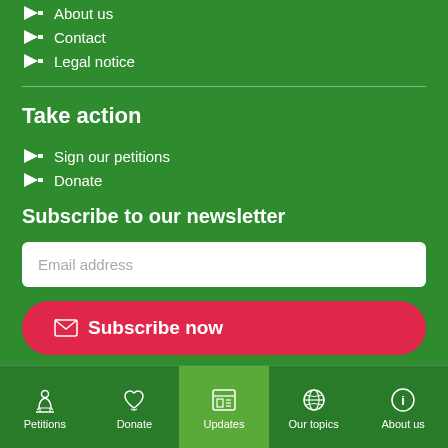About us
Contact
Legal notice
Take action
Sign our petitions
Donate
Subscribe to our newsletter
Email address
Subscribe now
Petitions | Donate | Updates | Our topics | About us